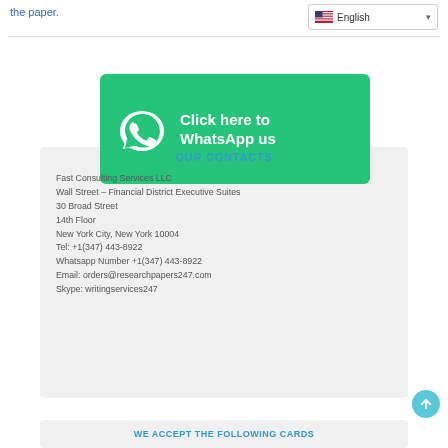the paper.
[Figure (screenshot): English language selector dropdown with US flag]
[Figure (infographic): WhatsApp banner: green background with WhatsApp logo and text 'Click here to WhatsApp us']
OUR CONTACTS
Fast Consulting Services LLC
Wall Street – Financial District Executive Suites
30 Broad Street
14th Floor
New York City, New York 10004
Tel: +1(347) 443-8922
Whatsapp Number +1(347) 443-8922
Email: orders@researchpapers247.com
Skype: writingservices247
WE ACCEPT THE FOLLOWING CARDS